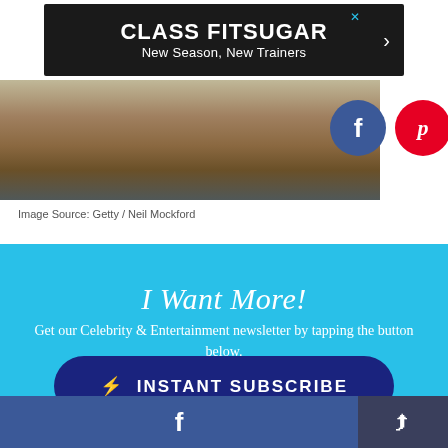[Figure (screenshot): Advertisement banner for CLASS FITSUGAR - New Season, New Trainers on dark background]
[Figure (photo): Cropped photo showing feet/shoes at bottom of frame, partial street scene]
Image Source: Getty / Neil Mockford
I Want More!
Get our Celebrity & Entertainment newsletter by tapping the button below.
⚡ INSTANT SUBSCRIBE
[Figure (screenshot): Bottom navigation bar with Facebook share button and general share button]